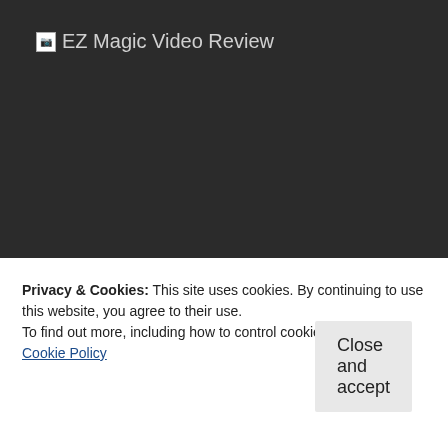EZ Magic Video Review
This comprehensive app allows you to select from thousands of clip templates. And besides the ability to opt for the character you like, you
Privacy & Cookies: This site uses cookies. By continuing to use this website, you agree to their use.
To find out more, including how to control cookies, see here:
Cookie Policy
Close and accept